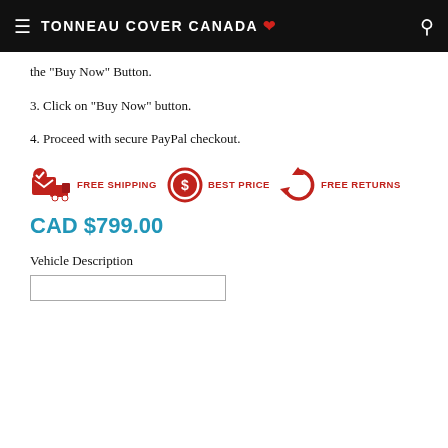TONNEAU COVER CANADA
the "Buy Now" Button.
3. Click on "Buy Now" button.
4. Proceed with secure PayPal checkout.
[Figure (infographic): Three red icons with labels: FREE SHIPPING (delivery truck with checkmark), BEST PRICE (dollar coin), FREE RETURNS (circular arrows)]
CAD $799.00
Vehicle Description
[Figure (other): Empty text input field for Vehicle Description]